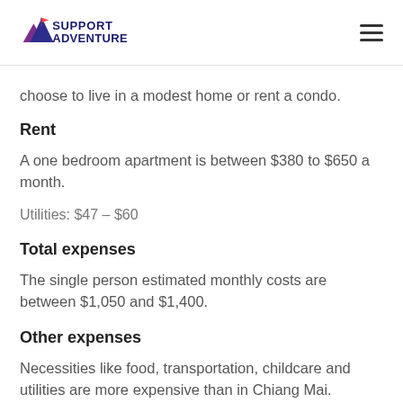Support Adventure
choose to live in a modest home or rent a condo.
Rent
A one bedroom apartment is between $380 to $650 a month.
Utilities: $47 – $60
Total expenses
The single person estimated monthly costs are between $1,050 and $1,400.
Other expenses
Necessities like food, transportation, childcare and utilities are more expensive than in Chiang Mai. Consider